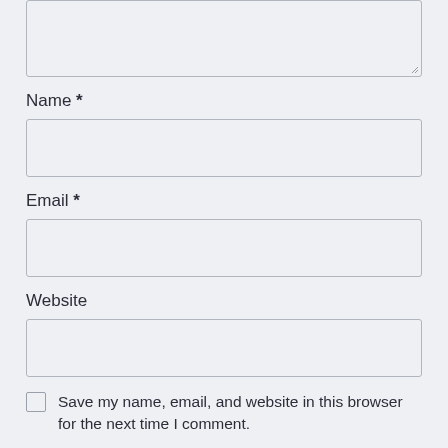[Figure (screenshot): Partial textarea input box at top of page, showing a comment/text area with a resize handle at bottom-right corner.]
Name *
[Figure (screenshot): Empty text input field for Name.]
Email *
[Figure (screenshot): Empty text input field for Email.]
Website
[Figure (screenshot): Empty text input field for Website.]
Save my name, email, and website in this browser for the next time I comment.